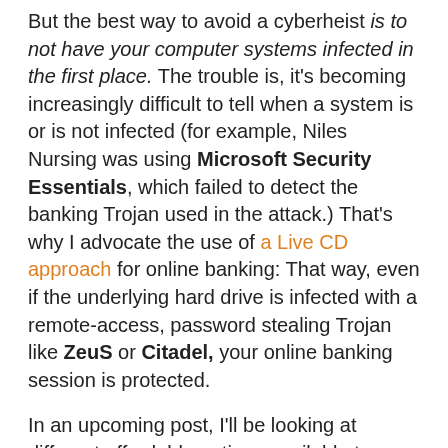But the best way to avoid a cyberheist is to not have your computer systems infected in the first place. The trouble is, it's becoming increasingly difficult to tell when a system is or is not infected (for example, Niles Nursing was using Microsoft Security Essentials, which failed to detect the banking Trojan used in the attack.) That's why I advocate the use of a Live CD approach for online banking: That way, even if the underlying hard drive is infected with a remote-access, password stealing Trojan like ZeuS or Citadel, your online banking session is protected.
In an upcoming post, I'll be looking at different affordable options available to small businesses for insuring themselves against losses from cyberheists. In the meantime, I've assembled a short list of other tips that small businesses should consider when banking online.